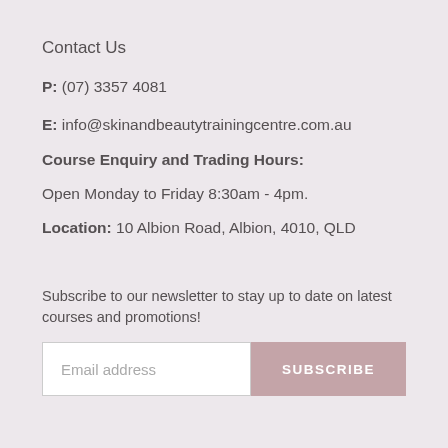Contact Us
P: (07) 3357 4081
E: info@skinandbeautytrainingcentre.com.au
Course Enquiry and Trading Hours:
Open Monday to Friday 8:30am - 4pm.
Location: 10 Albion Road, Albion, 4010, QLD
Subscribe to our newsletter to stay up to date on latest courses and promotions!
Email address
SUBSCRIBE